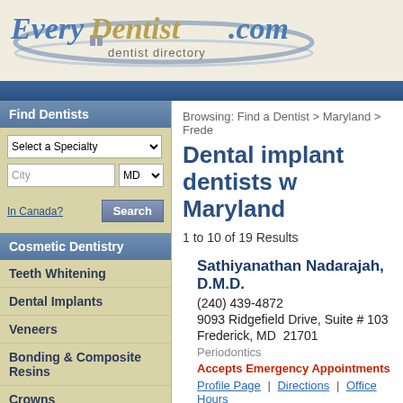[Figure (logo): EveryDentist.com dentist directory logo with swoosh graphic and open book icon]
Browsing: Find a Dentist > Maryland > Frede
Dental implant dentists w... Maryland
1 to 10 of 19 Results
Find Dentists
Select a Specialty
City | MD
In Canada? | Search
Cosmetic Dentistry
Teeth Whitening
Dental Implants
Veneers
Bonding & Composite Resins
Crowns
Gum Reshaping & Gum
Sathiyanathan Nadarajah, D.M.D.
(240) 439-4872
9093 Ridgefield Drive, Suite # 103
Frederick, MD  21701
Periodontics
Accepts Emergency Appointments
Profile Page | Directions | Office Hours